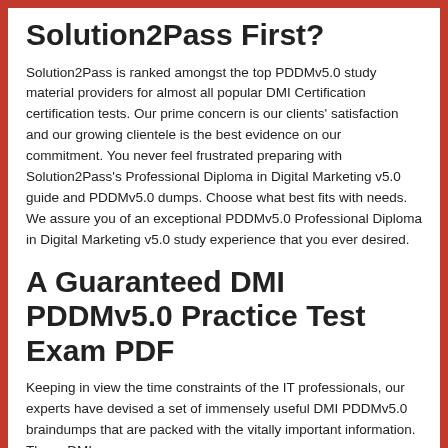Solution2Pass First?
Solution2Pass is ranked amongst the top PDDMv5.0 study material providers for almost all popular DMI Certification certification tests. Our prime concern is our clients' satisfaction and our growing clientele is the best evidence on our commitment. You never feel frustrated preparing with Solution2Pass's Professional Diploma in Digital Marketing v5.0 guide and PDDMv5.0 dumps. Choose what best fits with needs. We assure you of an exceptional PDDMv5.0 Professional Diploma in Digital Marketing v5.0 study experience that you ever desired.
A Guaranteed DMI PDDMv5.0 Practice Test Exam PDF
Keeping in view the time constraints of the IT professionals, our experts have devised a set of immensely useful DMI PDDMv5.0 braindumps that are packed with the vitally important information. These DMI